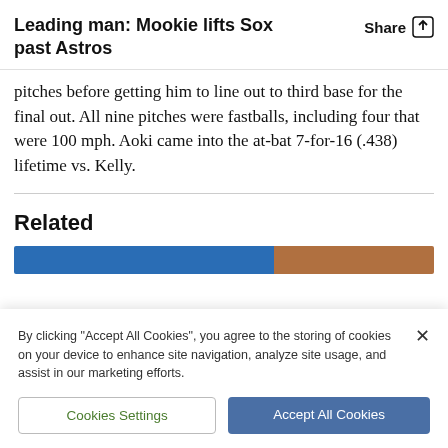Leading man: Mookie lifts Sox past Astros
pitches before getting him to line out to third base for the final out. All nine pitches were fastballs, including four that were 100 mph. Aoki came into the at-bat 7-for-16 (.438) lifetime vs. Kelly.
Related
[Figure (photo): Partial images of two related article thumbnails, one with blue dominant color and one with brown/orange dominant color]
By clicking "Accept All Cookies", you agree to the storing of cookies on your device to enhance site navigation, analyze site usage, and assist in our marketing efforts.